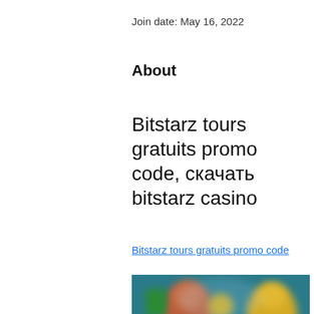Join date: May 16, 2022
About
Bitstarz tours gratuits promo code, скачать bitstarz casino
Bitstarz tours gratuits promo code
[Figure (photo): Blurred screenshot of Bitstarz casino website showing colorful game thumbnails and characters on a dark background]